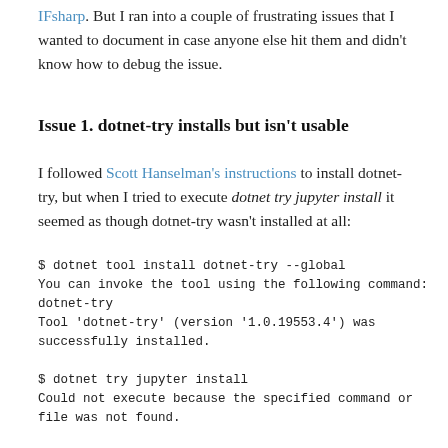IFsharp. But I ran into a couple of frustrating issues that I wanted to document in case anyone else hit them and didn't know how to debug the issue.
Issue 1. dotnet-try installs but isn't usable
I followed Scott Hanselman's instructions to install dotnet-try, but when I tried to execute dotnet try jupyter install it seemed as though dotnet-try wasn't installed at all:
$ dotnet tool install dotnet-try --global
You can invoke the tool using the following command:
dotnet-try
Tool 'dotnet-try' (version '1.0.19553.4') was
successfully installed.

$ dotnet try jupyter install
Could not execute because the specified command or
file was not found.